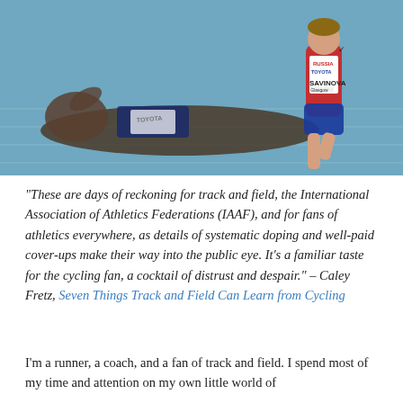[Figure (photo): Sports photo showing an athlete collapsed on a blue indoor track on the left, while a Russian runner wearing a bib labeled 'RUSSIA TOYOTA SAVINOVA' runs past on the right.]
“These are days of reckoning for track and field, the International Association of Athletics Federations (IAAF), and for fans of athletics everywhere, as details of systematic doping and well-paid cover-ups make their way into the public eye. It’s a familiar taste for the cycling fan, a cocktail of distrust and despair.” – Caley Fretz, Seven Things Track and Field Can Learn from Cycling
I’m a runner, a coach, and a fan of track and field. I spend most of my time and attention on my own little world of